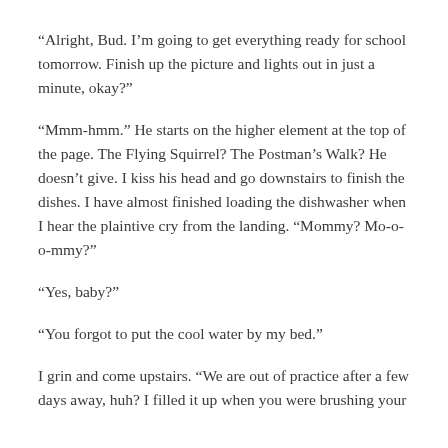“Alright, Bud. I’m going to get everything ready for school tomorrow. Finish up the picture and lights out in just a minute, okay?”
“Mmm-hmm.” He starts on the higher element at the top of the page. The Flying Squirrel? The Postman’s Walk? He doesn’t give. I kiss his head and go downstairs to finish the dishes. I have almost finished loading the dishwasher when I hear the plaintive cry from the landing. “Mommy? Mo-o-o-mmy?”
“Yes, baby?”
“You forgot to put the cool water by my bed.”
I grin and come upstairs. “We are out of practice after a few days away, huh? I filled it up when you were brushing your